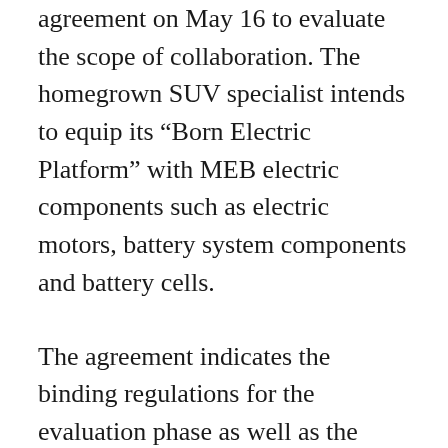agreement on May 16 to evaluate the scope of collaboration. The homegrown SUV specialist intends to equip its “Born Electric Platform” with MEB electric components such as electric motors, battery system components and battery cells.
The agreement indicates the binding regulations for the evaluation phase as well as the non-binding scope of supply. The binding supply agreement will be negotiated in a continued constructive and legally compliant way to conclude by the end of this calendar year. The MEB electric platform and its components allow car manufacturers to build